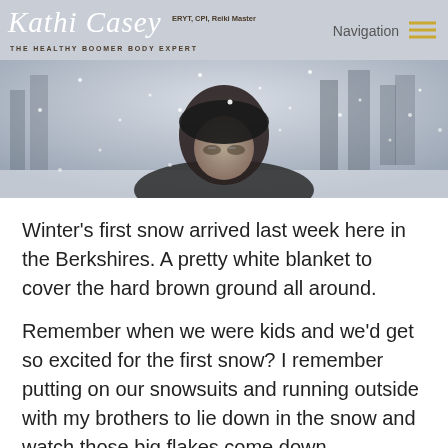Kathi Casey ERYT, CPI, Reiki Master THE HEALTHY BOOMER BODY EXPERT | Navigation
[Figure (photo): Person looking up at falling snow in a winter outdoor scene, wearing a dark coat, snowflakes visible in the air, snowy trees in background]
Winter’s first snow arrived last week here in the Berkshires. A pretty white blanket to cover the hard brown ground all around.
Remember when we were kids and we’d get so excited for the first snow? I remember putting on our snowsuits and running outside with my brothers to lie down in the snow and watch those big flakes come down, sometimes catching them on